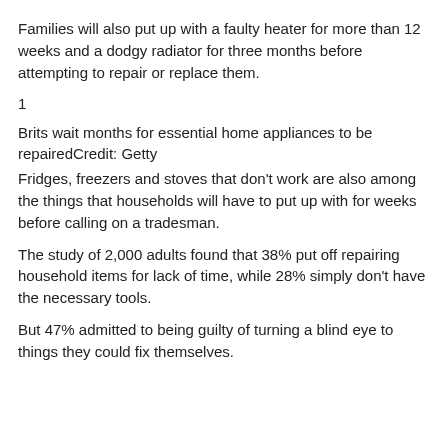Families will also put up with a faulty heater for more than 12 weeks and a dodgy radiator for three months before attempting to repair or replace them.
1
Brits wait months for essential home appliances to be repairedCredit: Getty
Fridges, freezers and stoves that don't work are also among the things that households will have to put up with for weeks before calling on a tradesman.
The study of 2,000 adults found that 38% put off repairing household items for lack of time, while 28% simply don't have the necessary tools.
But 47% admitted to being guilty of turning a blind eye to things they could fix themselves.